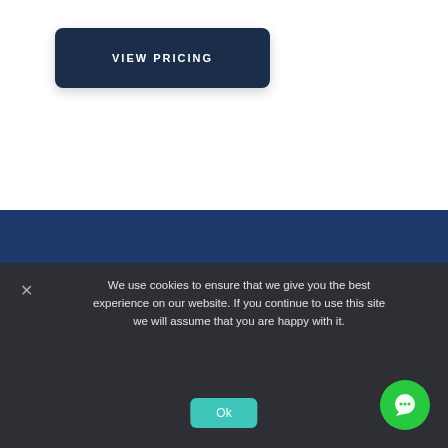[Figure (other): Dark navy blue rounded rectangle button labeled VIEW PRICING in white uppercase letters]
[Figure (other): Dark blue background section with a light blue circular arrow / refresh icon (partial arc with arrow pointing left and a vertical bar in the center)]
We use cookies to ensure that we give you the best experience on our website. If you continue to use this site we will assume that you are happy with it.
[Figure (other): Green rounded Ok button and a green circle chat button with white speech bubble icon]